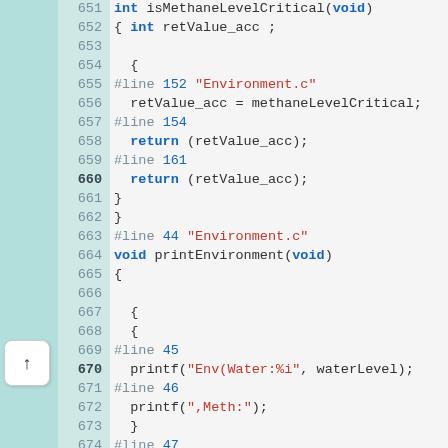Source code listing lines 651-680, C language with preprocessor directives, function isMethaneLevelCritical and printEnvironment